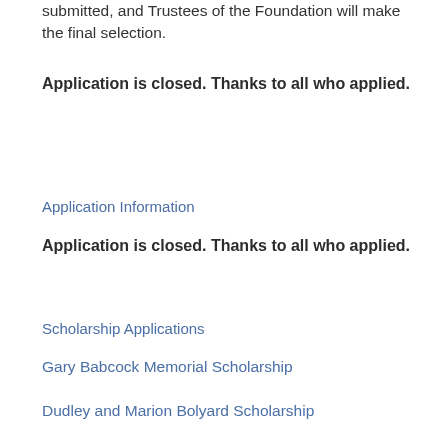submitted, and Trustees of the Foundation will make the final selection.
Application is closed. Thanks to all who applied.
Application Information
Application is closed. Thanks to all who applied.
Scholarship Applications
Gary Babcock Memorial Scholarship
Dudley and Marion Bolyard Scholarship